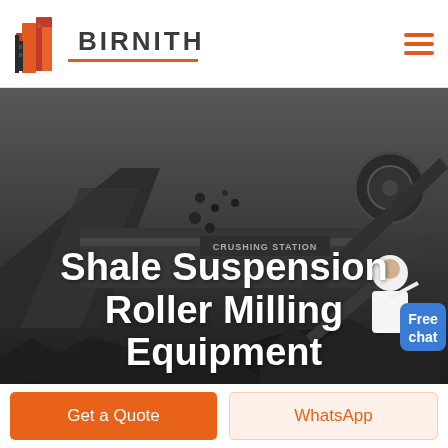[Figure (logo): Birnith company logo: orange/red angular building icon with 'BIRNITH' text and orange underline, plus hamburger menu icon on the right]
[Figure (photo): Dark industrial background showing a crushing station / heavy mining or milling machinery, monochrome/dark tones with conveyor and rock/coal piles]
Shale Suspension Roller Milling Equipment
Free chat
Get a Quote
WhatsApp